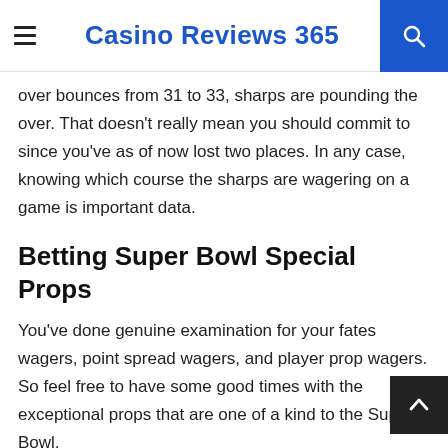Casino Reviews 365
over bounces from 31 to 33, sharps are pounding the over. That doesn't really mean you should commit to since you've as of now lost two places. In any case, knowing which course the sharps are wagering on a game is important data.
Betting Super Bowl Special Props
You've done genuine examination for your fates wagers, point spread wagers, and player prop wagers. So feel free to have some good times with the exceptional props that are one of a kind to the Super Bowl.
The length of the National Anthem is only one time to